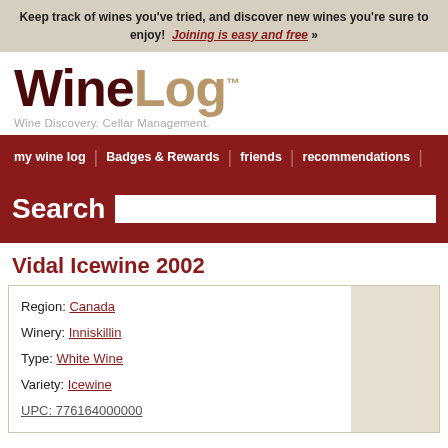Keep track of wines you've tried, and discover new wines you're sure to enjoy! Joining is easy and free »
[Figure (logo): WineLog logo with tagline 'Wine Discovery. Cellar Management.']
my wine log | Badges & Rewards | friends | recommendations |
Search
Vidal Icewine 2002
Region: Canada
Winery: Inniskillin
Type: White Wine
Variety: Icewine
UPC: 776164000000